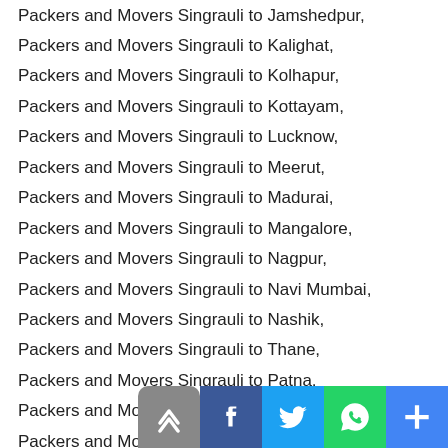Packers and Movers Singrauli to Jamshedpur,
Packers and Movers Singrauli to Kalighat,
Packers and Movers Singrauli to Kolhapur,
Packers and Movers Singrauli to Kottayam,
Packers and Movers Singrauli to Lucknow,
Packers and Movers Singrauli to Meerut,
Packers and Movers Singrauli to Madurai,
Packers and Movers Singrauli to Mangalore,
Packers and Movers Singrauli to Nagpur,
Packers and Movers Singrauli to Navi Mumbai,
Packers and Movers Singrauli to Nashik,
Packers and Movers Singrauli to Thane,
Packers and Movers Singrauli to Patna,
Packers and Movers Singrauli to Patalganga,
Packers and Movers Singrauli to Pondichery,
Packers and Movers Singrauli to Port Blair,